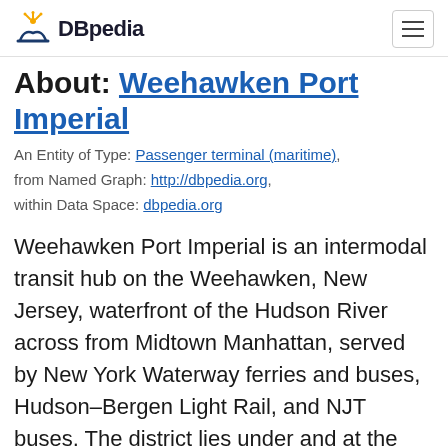DBpedia
About: Weehawken Port Imperial
An Entity of Type: Passenger terminal (maritime), from Named Graph: http://dbpedia.org, within Data Space: dbpedia.org
Weehawken Port Imperial is an intermodal transit hub on the Weehawken, New Jersey, waterfront of the Hudson River across from Midtown Manhattan, served by New York Waterway ferries and buses, Hudson–Bergen Light Rail, and NJT buses. The district lies under and at the foot of Pershing Road, a thoroughfare which